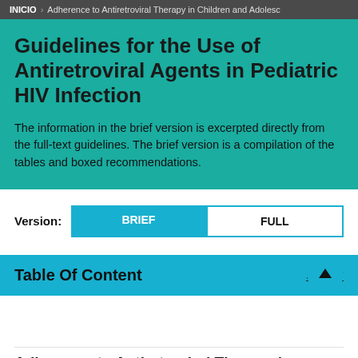INICIO > Adherence to Antiretroviral Therapy in Children and Adolesc…
Guidelines for the Use of Antiretroviral Agents in Pediatric HIV Infection
The information in the brief version is excerpted directly from the full-text guidelines. The brief version is a compilation of the tables and boxed recommendations.
Version: BRIEF | FULL
Table Of Content   SHOW
Adherence to Antiretroviral Therapy in Children